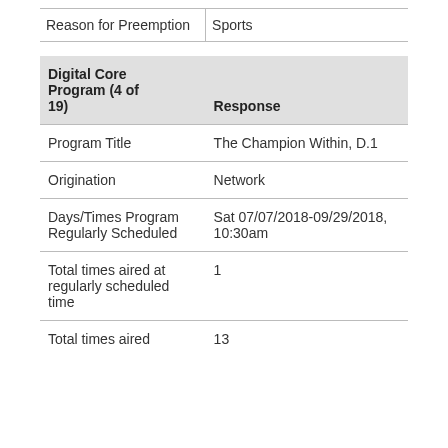| Reason for Preemption |  |
| --- | --- |
| Reason for Preemption | Sports |
| Digital Core Program (4 of 19) | Response |
| --- | --- |
| Program Title | The Champion Within, D.1 |
| Origination | Network |
| Days/Times Program Regularly Scheduled | Sat 07/07/2018-09/29/2018, 10:30am |
| Total times aired at regularly scheduled time | 1 |
| Total times aired | 13 |